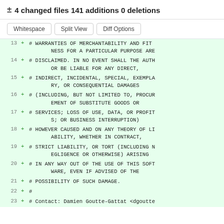± 4 changed files 141 additions 0 deletions
Whitespace  Split View  Diff Options
13 + # WARRANTIES OF MERCHANTABILITY AND FITNESS FOR A PARTICULAR PURPOSE ARE
14 + # DISCLAIMED. IN NO EVENT SHALL THE AUTHOR BE LIABLE FOR ANY DIRECT,
15 + # INDIRECT, INCIDENTAL, SPECIAL, EXEMPLARY, OR CONSEQUENTIAL DAMAGES
16 + # (INCLUDING, BUT NOT LIMITED TO, PROCUREMENT OF SUBSTITUTE GOODS OR
17 + # SERVICES; LOSS OF USE, DATA, OR PROFITS; OR BUSINESS INTERRUPTION)
18 + # HOWEVER CAUSED AND ON ANY THEORY OF LIABILITY, WHETHER IN CONTRACT,
19 + # STRICT LIABILITY, OR TORT (INCLUDING NEGLIGENCE OR OTHERWISE) ARISING
20 + # IN ANY WAY OUT OF THE USE OF THIS SOFTWARE, EVEN IF ADVISED OF THE
21 + # POSSIBILITY OF SUCH DAMAGE.
22 + #
23 + # Contact: Damien Goutte-Gattat <dgoutte